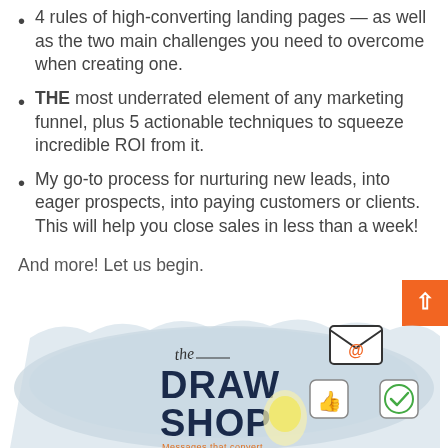4 rules of high-converting landing pages — as well as the two main challenges you need to overcome when creating one.
THE most underrated element of any marketing funnel, plus 5 actionable techniques to squeeze incredible ROI from it.
My go-to process for nurturing new leads, into eager prospects, into paying customers or clients. This will help you close sales in less than a week!
And more! Let us begin.
[Figure (illustration): The Draw Shop logo illustration with hand-drawn style text reading 'the DRAW SHOP Messages that convert' with icons including a thumbs up, envelope with @ symbol, and a checkmark, on a light blue/grey brushstroke background]